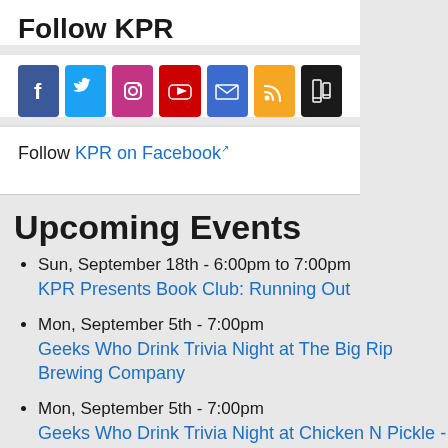Follow KPR
[Figure (infographic): Row of social media icons: Facebook (blue), Twitter (light blue), Instagram (pink/purple), YouTube (red), Email (blue envelope), RSS (orange), App/Mobile (black)]
Follow KPR on Facebook
Upcoming Events
Sun, September 18th - 6:00pm to 7:00pm
KPR Presents Book Club: Running Out
Mon, September 5th - 7:00pm
Geeks Who Drink Trivia Night at The Big Rip Brewing Company
Mon, September 5th - 7:00pm
Geeks Who Drink Trivia Night at Chicken N Pickle - Overland Park